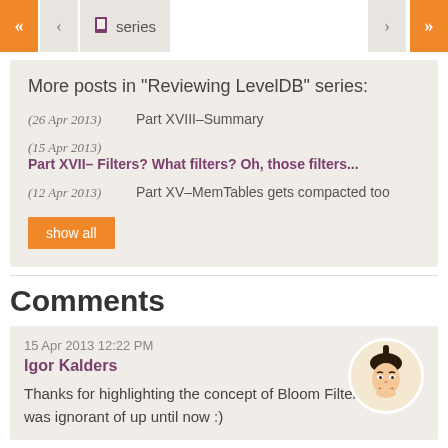< < series > >
More posts in "Reviewing LevelDB" series:
(26 Apr 2013) Part XVIII–Summary
(15 Apr 2013) Part XVII– Filters? What filters? Oh, those filters...
(12 Apr 2013) Part XV–MemTables gets compacted too
Comments
15 Apr 2013 12:22 PM
Igor Kalders
Thanks for highlighting the concept of Bloom Filter, which I was ignorant of up until now :)